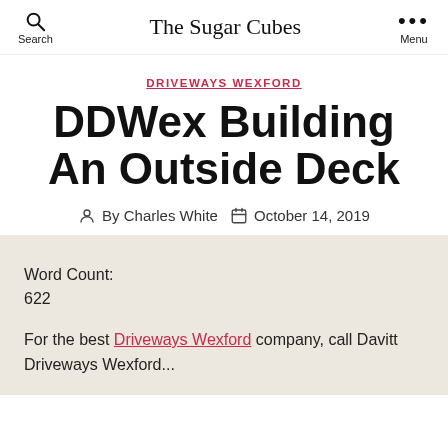The Sugar Cubes
DRIVEWAYS WEXFORD
DDWex Building An Outside Deck
By Charles White   October 14, 2019
Word Count:
622
For the best Driveways Wexford company, call Davitt Driveways Wexford...